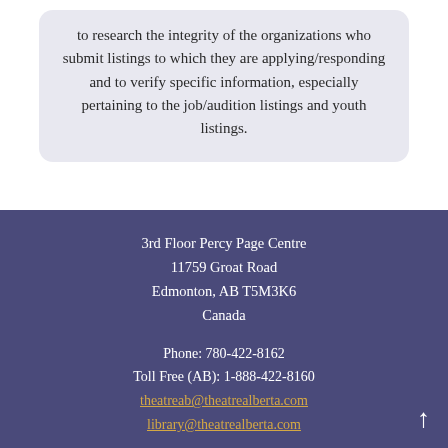to research the integrity of the organizations who submit listings to which they are applying/responding and to verify specific information, especially pertaining to the job/audition listings and youth listings.
3rd Floor Percy Page Centre
11759 Groat Road
Edmonton, AB T5M3K6
Canada

Phone: 780-422-8162
Toll Free (AB): 1-888-422-8160
theatreab@theatrealberta.com
library@theatrealberta.com